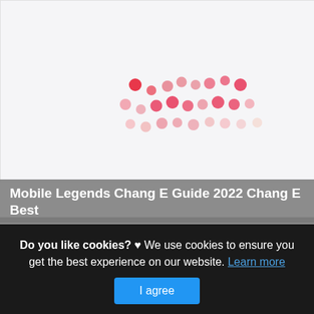[Figure (other): Loading spinner / dot animation pattern shown as scattered pink and salmon colored dots in a wave pattern on a light gray background]
Mobile Legends Chang E Guide 2022 Chang E Best
This is actually a post or even graphic approximately the Mobile Legends Chang E Guide 2022 Chang E Best Build 2022 Mobile, if you desire even more details approximately
Do you like cookies? ♥ We use cookies to ensure you get the best experience on our website. Learn more
I agree